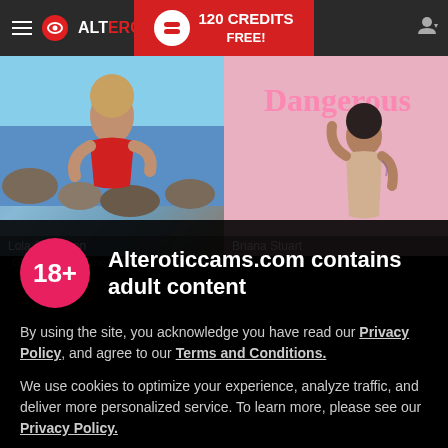ALTEROTICCAMS — 120 CREDITS FREE!
[Figure (photo): Two side-by-side model photos: left shows a woman in red near rocky ocean shore; right shows a woman near pink neon sign reading 'Dangerous']
Lola Johanson
Briana Stuart
Alteroticcams.com contains adult content
By using the site, you acknowledge you have read our Privacy Policy, and agree to our Terms and Conditions.
We use cookies to optimize your experience, analyze traffic, and deliver more personalized service. To learn more, please see our Privacy Policy.
I AGREE